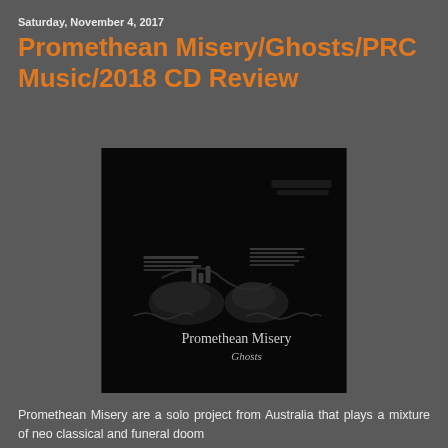Saturday, November 4, 2017
Promethean Misery/Ghosts/PRC Music/2018 CD Review
[Figure (photo): Album cover for Promethean Misery - Ghosts. Dark, nearly black image showing what appears to be shoes/feet and audio equipment with waveform graphics. Text reads 'Promethean Misery Ghosts' in the lower right area.]
Promethean Misery are a solo project from Australia that plays a mixture of neo classical and funeral doom